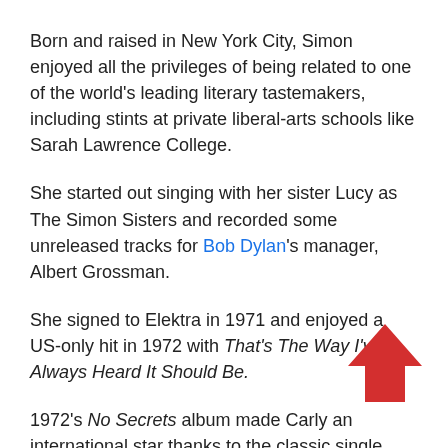Born and raised in New York City, Simon enjoyed all the privileges of being related to one of the world's leading literary tastemakers, including stints at private liberal-arts schools like Sarah Lawrence College.
She started out singing with her sister Lucy as The Simon Sisters and recorded some unreleased tracks for Bob Dylan's manager, Albert Grossman.
She signed to Elektra in 1971 and enjoyed a US-only hit in 1972 with That's The Way I've Always Heard It Should Be.
1972's No Secrets album made Carly an international star thanks to the classic single You're So Vain which contains one of the most enduring musical mysteries of all time.
[Figure (illustration): Red upward-pointing arrow icon overlaid on the bottom-right of the text]